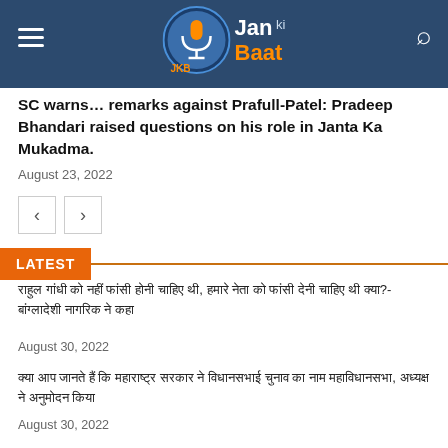Jan Ki Baat
SC warns… remarks against Prafull Patel: Pradeep Bhandari raised questions on his role in Janta Ka Mukadma.
August 23, 2022
LATEST
हिंदी समाचार शीर्षक – अगस्त 30, 2022
August 30, 2022
हिंदी समाचार शीर्षक – अगस्त 30, 2022
August 30, 2022